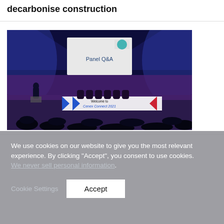decarbonise construction
[Figure (photo): Conference panel Q&A session at Cenex Connect 2021. A speaker stands at a podium on the left, with several panelists seated at a table. A large projection screen displays 'Panel Q&A'. The audience is shown in silhouette in the foreground. The venue has blue lighting and industrial architecture.]
We use cookies on our website to give you the most relevant experience. By clicking "Accept", you consent to use cookies. We never sell personal information.
Cookie Settings
Accept